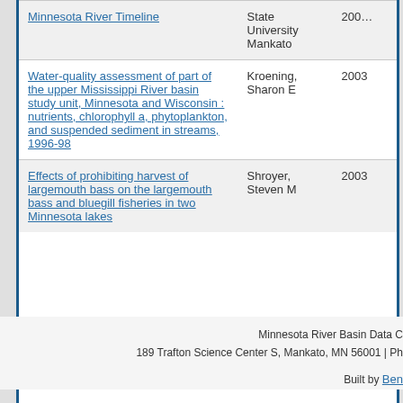| Title | Author | Year |
| --- | --- | --- |
| Minnesota River Timeline (link, partial) | State University Mankato | 200... |
| Water-quality assessment of part of the upper Mississippi River basin study unit, Minnesota and Wisconsin : nutrients, chlorophyll a, phytoplankton, and suspended sediment in streams, 1996-98 | Kroening, Sharon E | 2003 |
| Effects of prohibiting harvest of largemouth bass on the largemouth bass and bluegill fisheries in two Minnesota lakes | Shroyer, Steven M | 2003 |
Pagination: « first ‹ previous ... 30 31 32 33 34 (current) 35 36 37 38 ...
Minnesota River Basin Data C | 189 Trafton Science Center S, Mankato, MN 56001 | Ph... | Built by Ben...